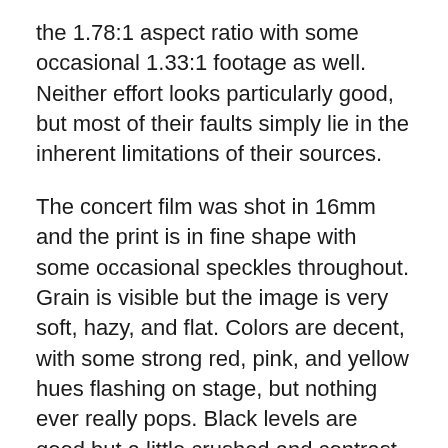the 1.78:1 aspect ratio with some occasional 1.33:1 footage as well. Neither effort looks particularly good, but most of their faults simply lie in the inherent limitations of their sources.
The concert film was shot in 16mm and the print is in fine shape with some occasional speckles throughout. Grain is visible but the image is very soft, hazy, and flat. Colors are decent, with some strong red, pink, and yellow hues flashing on stage, but nothing ever really pops. Black levels are good but a little crushed and contrast is fine. The video seems to accurately represent the original photography, but is still underwhelming all across the board.
The documentary is cobbled together from a variety of sources including HD video, SD video, and various...